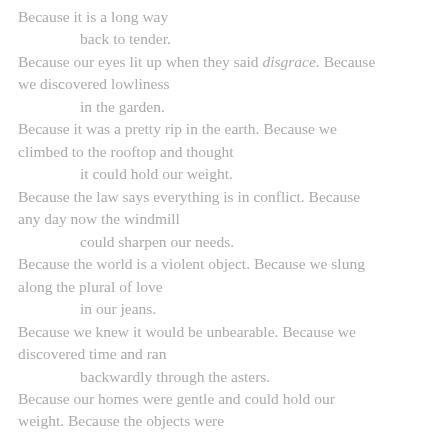Because it is a long way
        back to tender.
Because our eyes lit up when they said disgrace. Because we discovered lowliness
        in the garden.
Because it was a pretty rip in the earth. Because we climbed to the rooftop and thought
        it could hold our weight.
Because the law says everything is in conflict. Because any day now the windmill
        could sharpen our needs.
Because the world is a violent object. Because we slung along the plural of love
        in our jeans.
Because we knew it would be unbearable. Because we discovered time and ran
        backwardly through the asters.
Because our homes were gentle and could hold our weight. Because the objects were